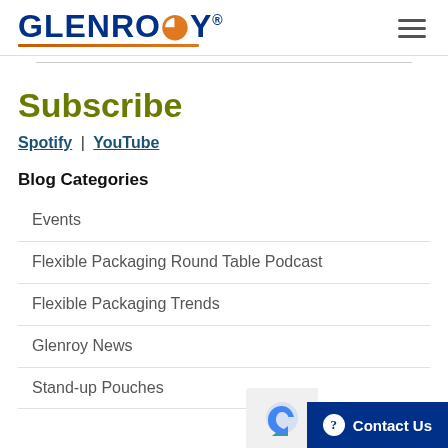GLENROY
Subscribe
Spotify | YouTube
Blog Categories
Events
Flexible Packaging Round Table Podcast
Flexible Packaging Trends
Glenroy News
Stand-up Pouches